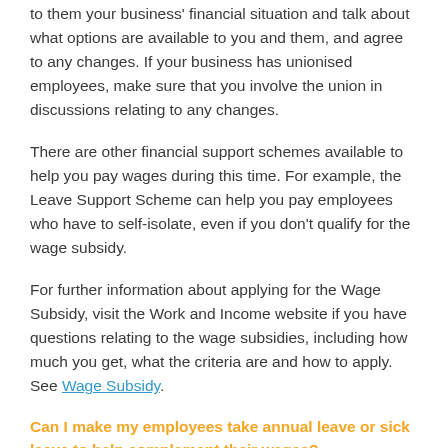to them your business' financial situation and talk about what options are available to you and them, and agree to any changes. If your business has unionised employees, make sure that you involve the union in discussions relating to any changes.
There are other financial support schemes available to help you pay wages during this time. For example, the Leave Support Scheme can help you pay employees who have to self-isolate, even if you don't qualify for the wage subsidy.
For further information about applying for the Wage Subsidy, visit the Work and Income website if you have questions relating to the wage subsidies, including how much you get, what the criteria are and how to apply. See Wage Subsidy.
Can I make my employees take annual leave or sick leave to help complement their wages?